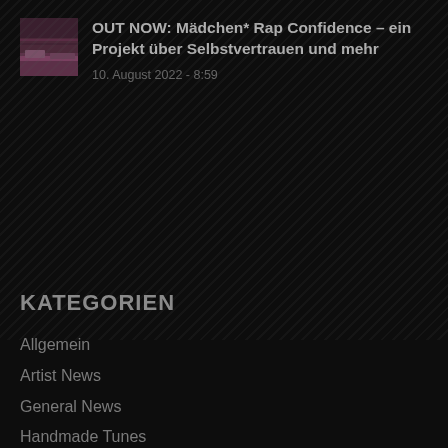[Figure (photo): Small album art thumbnail, dark pinkish/purple tones showing abstract landscape]
OUT NOW: Mädchen* Rap Confidence – ein Projekt über Selbstvertrauen und mehr
10. August 2022 - 8:59
KATEGORIEN
Allgemein
Artist News
General News
Handmade Tunes
Label News
Other News
Releases
Schmuckstück Records
Spotlight